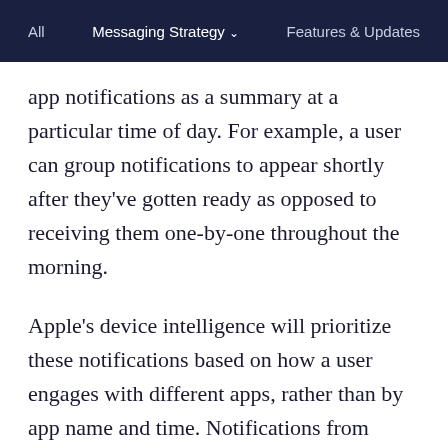All  Messaging Strategy ∨  Features & Updates
app notifications as a summary at a particular time of day. For example, a user can group notifications to appear shortly after they've gotten ready as opposed to receiving them one-by-one throughout the morning.
Apple's device intelligence will prioritize these notifications based on how a user engages with different apps, rather than by app name and time. Notifications from friends